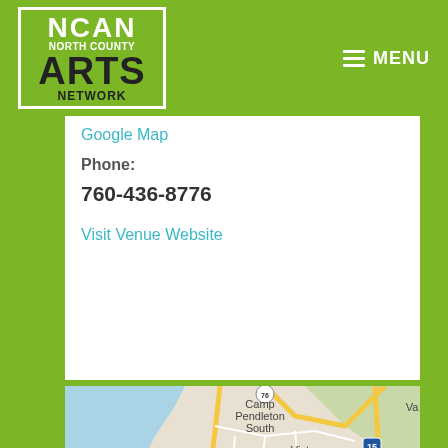NCAN North County Arts Network | MENU
Google Map
Phone:
760-436-8776
Visit Venue Website
[Figure (map): Google Map showing North County San Diego area including Camp Pendleton South, Oceanside, Vista, Carlsbad, San Marcos, Escondido, Encinitas, and Rancho Santa Fe. A red location pin is placed at Encinitas near the coast.]